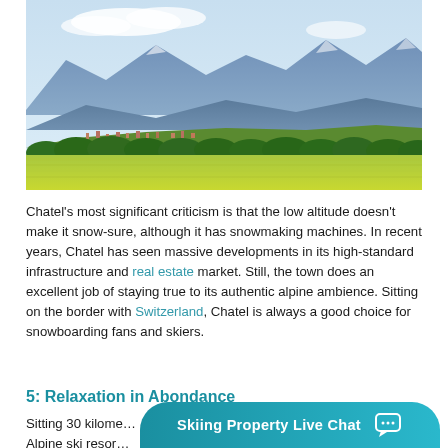[Figure (photo): Landscape photo showing alpine meadow with bright green/yellow grass in foreground, a row of dark green trees in the middle ground, a small village or town in the middle distance, and mountain ranges under a pale blue sky with light clouds in the background.]
Chatel's most significant criticism is that the low altitude doesn't make it snow-sure, although it has snowmaking machines. In recent years, Chatel has seen massive developments in its high-standard infrastructure and real estate market. Still, the town does an excellent job of staying true to its authentic alpine ambience. Sitting on the border with Switzerland, Chatel is always a good choice for snowboarding fans and skiers.
5: Relaxation in Abondance
Sitting 30 kilome... other Alpine ski resor... Famed
Skiing Property Live Chat